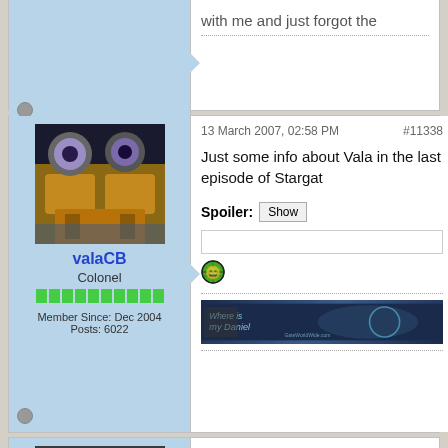with me and just forgot the
13 March 2007, 02:58 PM   #11338
Just some info about Vala in the last episode of Stargat
Spoiler: Show
[Figure (screenshot): WALL-E robot avatar image for user valaCB]
valaCB
Colonel
Member Since: Dec 2004
Posts: 6022
[Figure (illustration): Smiley face emoji - green globe/laughing face]
[Figure (screenshot): Signature banner - Where is my Daniel - SG fan site banner]
14 March 2007, 06:41 AM   #11339
[Figure (screenshot): Avatar image of person wearing dark cap]